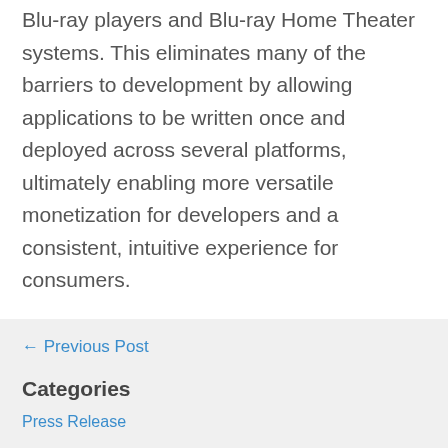Blu-ray players and Blu-ray Home Theater systems. This eliminates many of the barriers to development by allowing applications to be written once and deployed across several platforms, ultimately enabling more versatile monetization for developers and a consistent, intuitive experience for consumers.
← Previous Post
Categories
Press Release
Recent Posts
SAMSUNG ATTRACTS DEVELOPERS TO NEW ERA OF SMART TV
SAMSUNG DELIVERS PROFESSIONAL PERFORMANCE